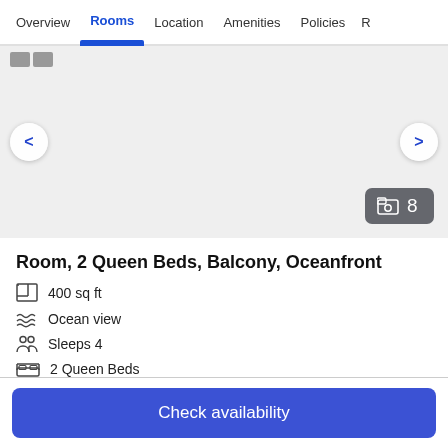Overview  Rooms  Location  Amenities  Policies  R
[Figure (screenshot): Hotel room image carousel area showing navigation arrows (< and >) and a photo count badge showing 8 photos. Background is light gray representing an empty/loading room image.]
Room, 2 Queen Beds, Balcony, Oceanfront
400 sq ft
Ocean view
Sleeps 4
2 Queen Beds
More details →